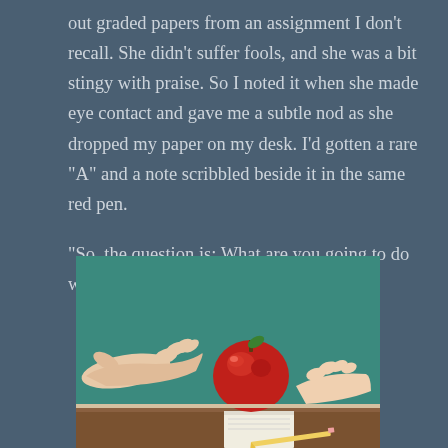out graded papers from an assignment I don't recall. She didn't suffer fools, and she was a bit stingy with praise. So I noted it when she made eye contact and gave me a subtle nod as she dropped my paper on my desk. I'd gotten a rare “A” and a note scribbled beside it in the same red pen.
“So, the question is: What are you going to do with your ability to write?” it asked.
[Figure (photo): A classroom photo showing two hands — an adult's hand on the left and a child's hand on the right — exchanging or holding a red apple. In the background is a teal/green chalkboard. On the desk below are a notepad and a pencil.]